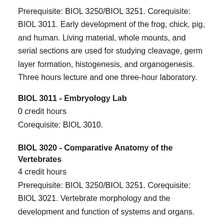Prerequisite: BIOL 3250/BIOL 3251. Corequisite: BIOL 3011. Early development of the frog, chick, pig, and human. Living material, whole mounts, and serial sections are used for studying cleavage, germ layer formation, histogenesis, and organogenesis. Three hours lecture and one three-hour laboratory.
BIOL 3011 - Embryology Lab
0 credit hours
Corequisite: BIOL 3010.
BIOL 3020 - Comparative Anatomy of the Vertebrates
4 credit hours
Prerequisite: BIOL 3250/BIOL 3251. Corequisite: BIOL 3021. Vertebrate morphology and the development and function of systems and organs.